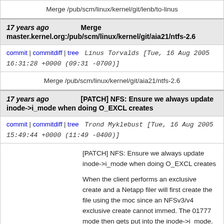Merge /pub/scm/linux/kernel/git/lenb/to-linus
17 years ago   Merge master.kernel.org:/pub/scm/linux/kernel/git/aia21/ntfs-2.6
commit | commitdiff | tree   Linus Torvalds [Tue, 16 Aug 2005 16:31:28 +0000 (09:31 -0700)]
Merge /pub/scm/linux/kernel/git/aia21/ntfs-2.6
17 years ago   [PATCH] NFS: Ensure we always update inode->i_mode when doing O_EXCL creates
commit | commitdiff | tree   Trond Myklebust [Tue, 16 Aug 2005 15:49:44 +0000 (11:49 -0400)]
[PATCH] NFS: Ensure we always update inode->i_mode when doing O_EXCL creates

When the client performs an exclusive create and a Netapp filer will first create the file using the mode since an NFSv3/v4 exclusive create cannot immed. The 01777 mode then gets put into the inode->i_mode. After the file creation is successful, we then do a setattr to change the mode (as per the NFS spec).

The problem is that nfs_refresh_inode() no longe